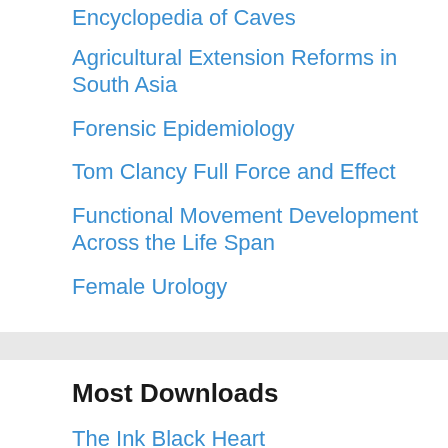Encyclopedia of Caves
Agricultural Extension Reforms in South Asia
Forensic Epidemiology
Tom Clancy Full Force and Effect
Functional Movement Development Across the Life Span
Female Urology
Most Downloads
The Ink Black Heart
It Ends with Us
Verity